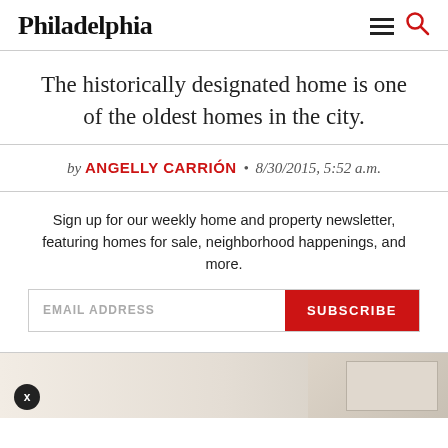Philadelphia
The historically designated home is one of the oldest homes in the city.
by ANGELLY CARRIÓN • 8/30/2015, 5:52 a.m.
Sign up for our weekly home and property newsletter, featuring homes for sale, neighborhood happenings, and more.
[Figure (photo): Partial view of interior room with white trim and window]